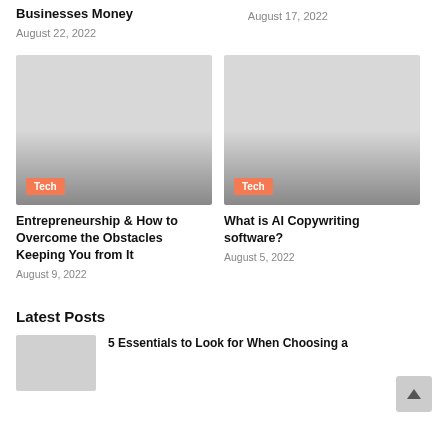Businesses Money
August 22, 2022
August 17, 2022
[Figure (photo): Gray gradient image with Tech tag overlay]
Entrepreneurship & How to Overcome the Obstacles Keeping You from It
August 9, 2022
[Figure (photo): Gray gradient image with Tech tag overlay]
What is AI Copywriting software?
August 5, 2022
Latest Posts
[Figure (photo): Gray thumbnail image]
5 Essentials to Look for When Choosing a